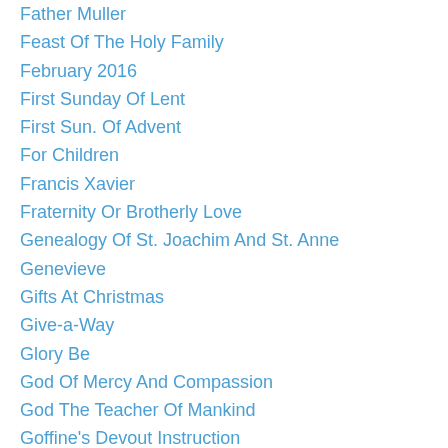Father Muller
Feast Of The Holy Family
February 2016
First Sunday Of Lent
First Sun. Of Advent
For Children
Francis Xavier
Fraternity Or Brotherly Love
Genealogy Of St. Joachim And St. Anne
Genevieve
Gifts At Christmas
Give-a-Way
Glory Be
God Of Mercy And Compassion
God The Teacher Of Mankind
Goffine's Devout Instruction
Goffine's Devout Instruction
Good Friday
Guardian Angel
Guardian Angels
Guardian Angels